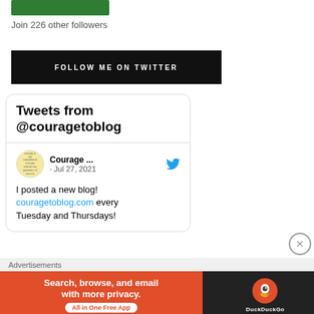[Figure (illustration): Green button (Follow widget)]
Join 226 other followers
FOLLOW ME ON TWITTER
[Figure (screenshot): Embedded Twitter widget card showing Tweets from @couragetoblog, with a tweet by Courage... dated Jul 27, 2021: I posted a new blog! couragetoblog.com every Tuesday and Thursdays!]
Advertisements
[Figure (illustration): DuckDuckGo advertisement banner: Search, browse, and email with more privacy. All in One Free App]